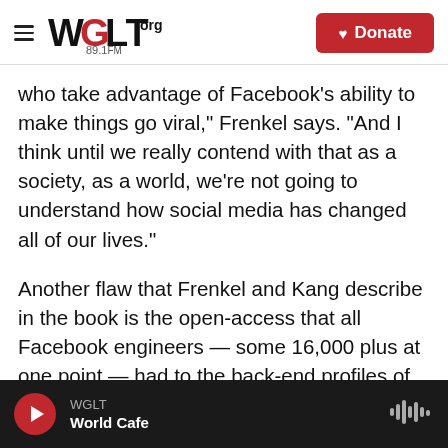WGLT.org 89.1FM — Donate
who take advantage of Facebook’s ability to make things go viral,” Frenkel says. “And I think until we really contend with that as a society, as a world, we’re not going to understand how social media has changed all of our lives.”
Another flaw that Frenkel and Kang describe in the book is the open-access that all Facebook engineers — some 16,000 plus at one point — had to the back-end profiles of users. The policy gave engineers more information about users than would be publicly available on their profiles.
WGLT World Cafe